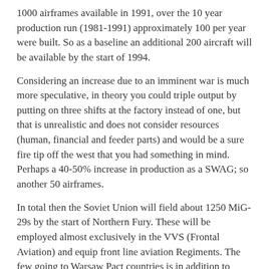1000 airframes available in 1991, over the 10 year production run (1981-1991) approximately 100 per year were built. So as a baseline an additional 200 aircraft will be available by the start of 1994.
Considering an increase due to an imminent war is much more speculative, in theory you could triple output by putting on three shifts at the factory instead of one, but that is unrealistic and does not consider resources (human, financial and feeder parts) and would be a sure fire tip off the west that you had something in mind. Perhaps a 40-50% increase in production as a SWAG; so another 50 airframes.
In total then the Soviet Union will field about 1250 MiG-29s by the start of Northern Fury. These will be employed almost exclusively in the VVS (Frontal Aviation) and equip front line aviation Regiments. The few going to Warsaw Pact countries is in addition to these numbers and amounts for a small number:
Bulgaria: 6 new in addition to the 16 received in the 1980's;